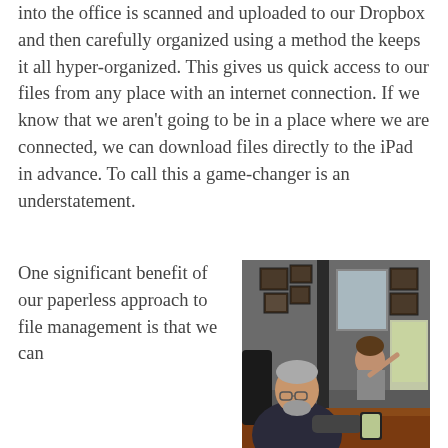into the office is scanned and uploaded to our Dropbox and then carefully organized using a method the keeps it all hyper-organized. This gives us quick access to our files from any place with an internet connection. If we know that we aren't going to be in a place where we are connected, we can download files directly to the iPad in advance. To call this a game-changer is an understatement.
[Figure (photo): A man in a suit sitting at a wooden desk in an office, holding a tablet, with framed certificates on the wall behind and a monitor to the right. A woman is partially visible in the background.]
One significant benefit of our paperless approach to file management is that we can